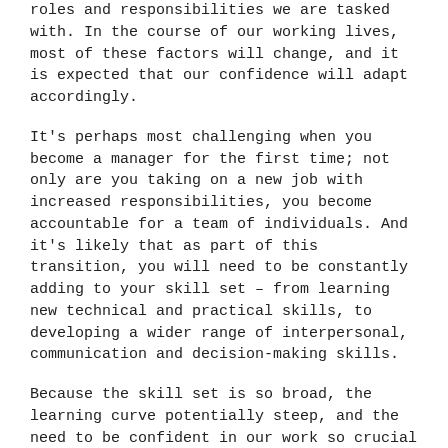roles and responsibilities we are tasked with. In the course of our working lives, most of these factors will change, and it is expected that our confidence will adapt accordingly.
It's perhaps most challenging when you become a manager for the first time; not only are you taking on a new job with increased responsibilities, you become accountable for a team of individuals. And it's likely that as part of this transition, you will need to be constantly adding to your skill set – from learning new technical and practical skills, to developing a wider range of interpersonal, communication and decision-making skills.
Because the skill set is so broad, the learning curve potentially steep, and the need to be confident in our work so crucial to performance, how do we prioritise which is the most important?
In the recently released annual learning report by Linked In*, employers identified that the most critical skills they need their staff to acquire in 2020 are, perhaps surprisingly in this digital era, leadership and management. And this is